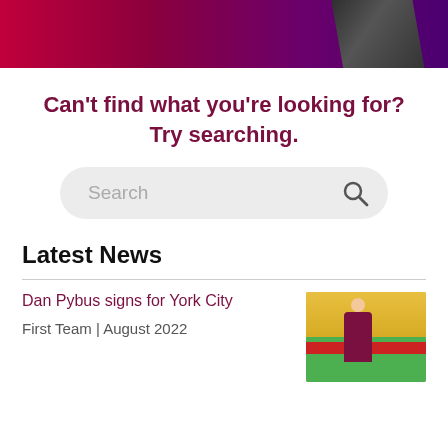[Figure (photo): Banner image with red/purple gradient background and a hand holding a phone on the right side]
Can't find what you're looking for? Try searching.
[Figure (other): Search bar with placeholder text 'Search' and a magnifying glass icon]
Latest News
Dan Pybus signs for York City
First Team | August 2022
[Figure (photo): Thumbnail photo of a footballer in maroon/claret kit on a green pitch with yellow stands in background]